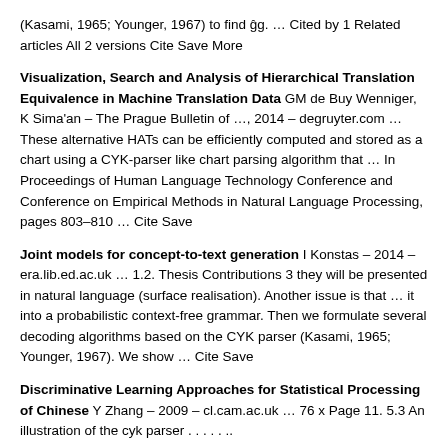(Kasami, 1965; Younger, 1967) to find ĝg. … Cited by 1 Related articles All 2 versions Cite Save More
Visualization, Search and Analysis of Hierarchical Translation Equivalence in Machine Translation Data GM de Buy Wenniger, K Sima'an – The Prague Bulletin of …, 2014 – degruyter.com … These alternative HATs can be efficiently computed and stored as a chart using a CYK-parser like chart parsing algorithm that … In Proceedings of Human Language Technology Conference and Conference on Empirical Methods in Natural Language Processing, pages 803–810 … Cite Save
Joint models for concept-to-text generation I Konstas – 2014 – era.lib.ed.ac.uk … 1.2. Thesis Contributions 3 they will be presented in natural language (surface realisation). Another issue is that … it into a probabilistic context-free grammar. Then we formulate several decoding algorithms based on the CYK parser (Kasami, 1965; Younger, 1967). We show … Cite Save
Discriminative Learning Approaches for Statistical Processing of Chinese Y Zhang – 2009 – cl.cam.ac.uk … 76 x Page 11. 5.3 An illustration of the cyk parser . . . . . ..